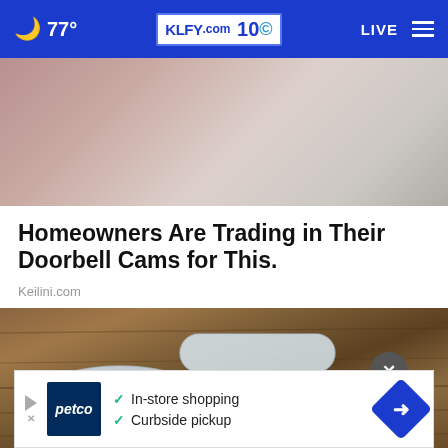77° KLFY.com 10 LIVE
[Figure (photo): Close-up photo of fabric/clothing in muted pink and beige tones, partially visible at top of page]
Homeowners Are Trading in Their Doorbell Cams for This.
Keilini.com
[Figure (photo): Photo of a plastic measuring scoop filled with white powder, placed on a rustic wooden surface]
✓ In-store shopping
✓ Curbside pickup